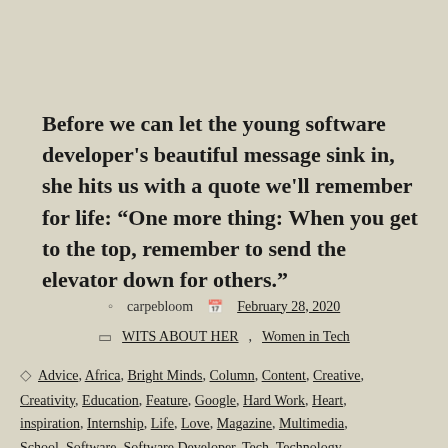Before we can let the young software developer's beautiful message sink in, she hits us with a quote we'll remember for life: “One more thing: When you get to the top, remember to send the elevator down for others.”
carpebloom   February 28, 2020
WITS ABOUT HER, Women in Tech
Advice, Africa, Bright Minds, Column, Content, Creative, Creativity, Education, Feature, Google, Hard Work, Heart, inspiration, Internship, Life, Love, Magazine, Multimedia, School, Software, Software Developer, Tech, Technology,